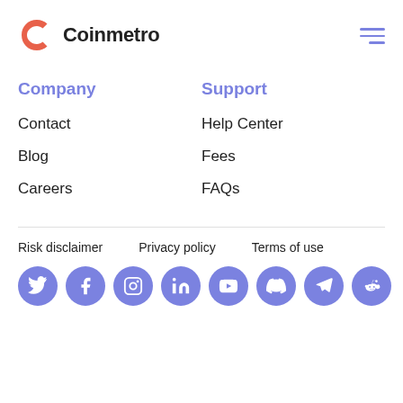[Figure (logo): Coinmetro logo with stylized C in orange/red and wordmark 'Coinmetro' in bold dark text]
Company
Support
Contact
Help Center
Blog
Fees
Careers
FAQs
Risk disclaimer
Privacy policy
Terms of use
[Figure (illustration): Row of 8 social media icons (Twitter, Facebook, Instagram, LinkedIn, YouTube, Discord, Telegram, Reddit) as purple/blue circles with white logos]